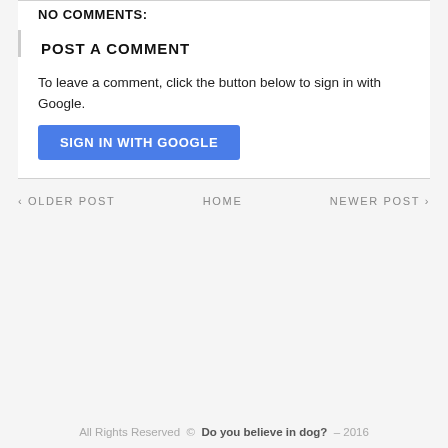NO COMMENTS:
POST A COMMENT
To leave a comment, click the button below to sign in with Google.
[Figure (other): Blue button labeled SIGN IN WITH GOOGLE]
‹ OLDER POST    HOME    NEWER POST ›
All Rights Reserved © Do you believe in dog? – 2016